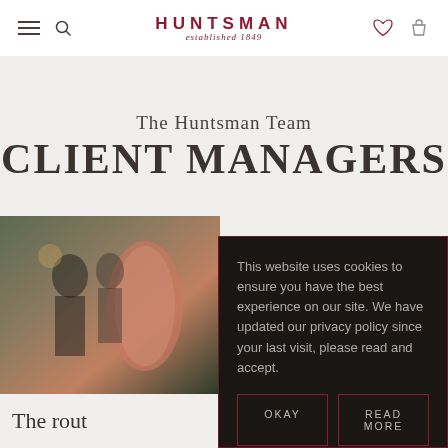HUNTSMAN established 1849
The Huntsman Team CLIENT MANAGERS
[Figure (photo): Interior shop scene with people and rolls of fabric]
This website uses cookies to ensure you have the best experience on our site. We have updated our privacy policy since your last visit, please read and accept.
OKAY   READ MORE
The rout